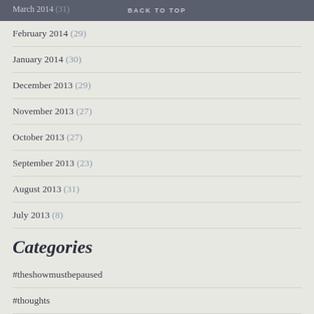BACK TO TOP
March 2014 (31)
February 2014 (29)
January 2014 (30)
December 2013 (29)
November 2013 (27)
October 2013 (27)
September 2013 (23)
August 2013 (31)
July 2013 (8)
Categories
#theshowmustbepaused
#thoughts